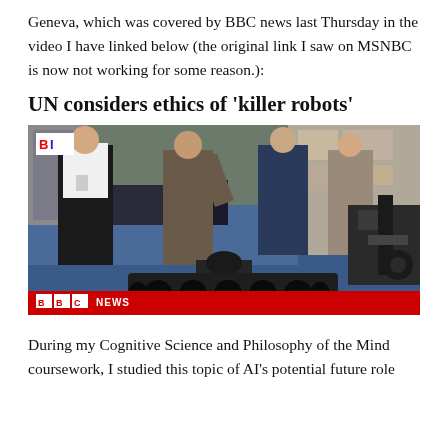Geneva, which was covered by BBC news last Thursday in the video I have linked below (the original link I saw on MSNBC is now not working for some reason.):
UN considers ethics of 'killer robots'
[Figure (photo): BBC News video screenshot showing people at what appears to be a military/robotics exhibition or conference, with robotic weapons equipment in the foreground and a BBC NEWS lower-third banner at the bottom.]
During my Cognitive Science and Philosophy of the Mind coursework, I studied this topic of AI's potential future role